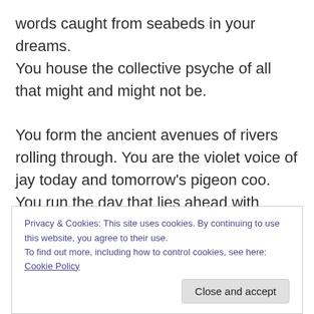words caught from seabeds in your dreams.
You house the collective psyche of all that might and might not be.

You form the ancient avenues of rivers rolling through. You are the violet voice of jay today and tomorrow's pigeon coo. You run the day that lies ahead with celestial composure, the nimble nimbus in parallel working to enclose you.
Privacy & Cookies: This site uses cookies. By continuing to use this website, you agree to their use.
To find out more, including how to control cookies, see here: Cookie Policy
Close and accept